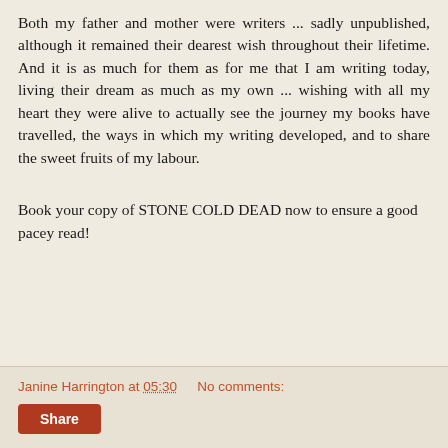Both my father and mother were writers ... sadly unpublished, although it remained their dearest wish throughout their lifetime. And it is as much for them as for me that I am writing today, living their dream as much as my own ... wishing with all my heart they were alive to actually see the journey my books have travelled, the ways in which my writing developed, and to share the sweet fruits of my labour.
Book your copy of STONE COLD DEAD now to ensure a good pacey read!
Janine Harrington at 05:30   No comments:   Share